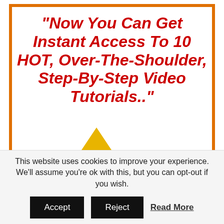"Now You Can Get Instant Access To 10 HOT, Over-The-Shoulder, Step-By-Step Video Tutorials.."
This website uses cookies to improve your experience. We'll assume you're ok with this, but you can opt-out if you wish.
Accept  Reject  Read More